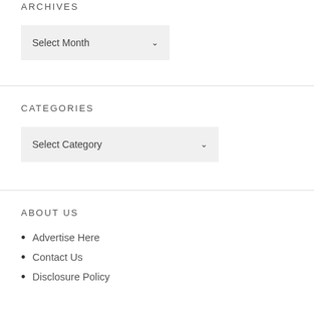ARCHIVES
Select Month
CATEGORIES
Select Category
ABOUT US
Advertise Here
Contact Us
Disclosure Policy